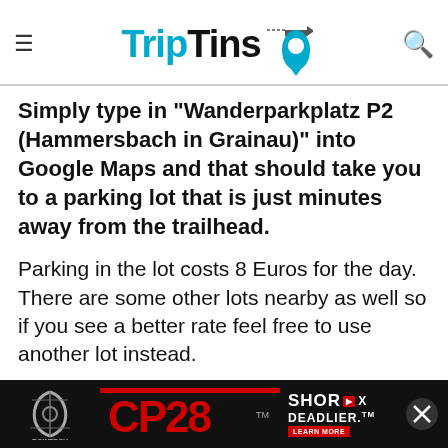TripTins
Simply type in “Wanderparkplatz P2 (Hammersbach in Grainau)” into Google Maps and that should take you to a parking lot that is just minutes away from the trailhead.
Parking in the lot costs 8 Euros for the day. There are some other lots nearby as well so if you see a better rate feel free to use another lot instead.
[Figure (photo): Advertisement banner: Bowtech CP28 bow advertisement with red CP28 logo, SHOR-DEADLIER text and LEARN MORE button]